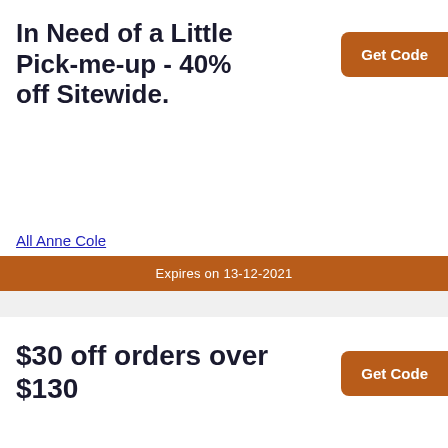In Need of a Little Pick-me-up - 40% off Sitewide.
All Anne Cole
Get Code
Expires on 13-12-2021
$30 off orders over $130
All LASCANA USA
Get Code
Expires on 09-12-2021